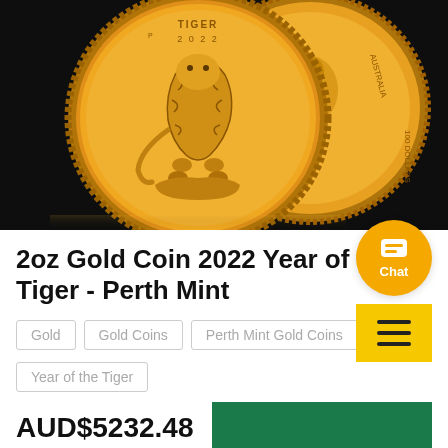[Figure (photo): Two gold coins showing Year of the Tiger 2022 design - Perth Mint. Front coin shows tiger design with 'TIGER 2022' inscription, back coin shows Australian Queen portrait with '100 DOLLARS' text. Dark background with dramatic lighting.]
2oz Gold Coin 2022 Year of the Tiger - Perth Mint
Gold
Gold Coins
Perth Mint Gold Coins
Year of the Tiger
AUD$5232.48